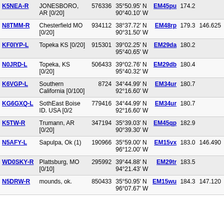| Callsign | Location | ID | Coordinates | Grid | Dist | Freq |
| --- | --- | --- | --- | --- | --- | --- |
| K5NEA-R | JONESBORO, AR [0/20] | 576336 | 35°50.95' N 90°40.10' W | EM45pu | 174.2 |  |
| N8TMM-R | Chesterfield MO [0/20] | 934112 | 38°37.72' N 90°31.50' W | EM48rp | 179.3 | 146.625 |
| KF0IYP-L | Topeka KS [0/20] | 915301 | 39°02.25' N 95°40.65' W | EM29da | 180.2 |  |
| N0JRD-L | Topeka, KS [0/20] | 506433 | 39°02.76' N 95°40.32' W | EM29db | 180.4 |  |
| K6VGP-L | Southern California [0/100] | 8724 | 34°44.99' N 92°16.60' W | EM34ur | 180.7 |  |
| KG6GXQ-L | SothEast Boise ID. USA [0/2 | 779416 | 34°44.99' N 92°16.60' W | EM34ur | 180.7 |  |
| K5TW-R | Trumann, AR [0/20] | 347194 | 35°39.03' N 90°39.30' W | EM45qp | 182.9 |  |
| N5AFY-L | Sapulpa, Ok (1) | 190966 | 35°59.00' N 96°12.00' W | EM15vx | 183.0 | 146.490 |
| WD0SKY-R | Plattsburg, MO [0/10] | 295992 | 39°44.88' N 94°21.43' W | EM29tr | 183.5 |  |
| N5DRW-R | mounds, ok. | 850433 | 35°50.95' N 96°07.67' W | EM15wu | 184.3 | 147.120 |